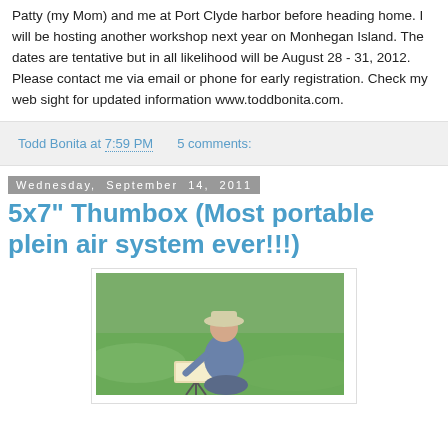Patty (my Mom) and me at Port Clyde harbor before heading home. I will be hosting another workshop next year on Monhegan Island. The dates are tentative but in all likelihood will be August 28 - 31, 2012. Please contact me via email or phone for early registration. Check my web sight for updated information www.toddbonita.com.
Todd Bonita at 7:59 PM   5 comments:
Wednesday, September 14, 2011
5x7" Thumbox (Most portable plein air system ever!!!)
[Figure (photo): A person wearing a hat sitting outdoors on grass, working at a small portable easel/thumbox on a tripod, painting plein air style.]